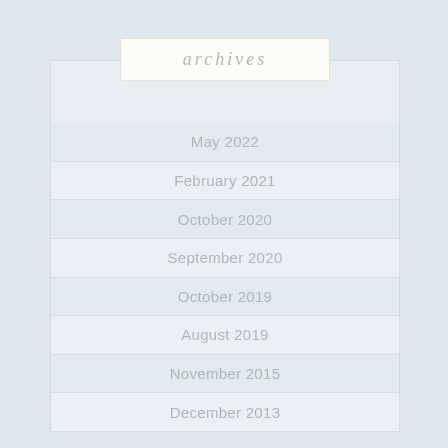archives
May 2022
February 2021
October 2020
September 2020
October 2019
August 2019
November 2015
December 2013